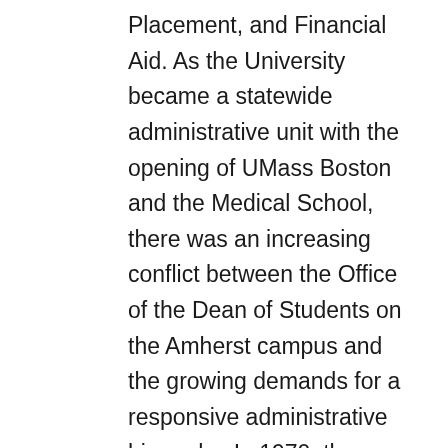Placement, and Financial Aid. As the University became a statewide administrative unit with the opening of UMass Boston and the Medical School, there was an increasing conflict between the Office of the Dean of Students on the Amherst campus and the growing demands for a responsive administrative hierarchy. In 1970, the Office of the Vice Chancellor for Student Affairs was therefore created to provide an appropriate level of supervision for the various Student Affairs divisions with regard to budget, personnel and administration. The Office of the Dean of Students then became a student contact-based office, which cooperated and collaborated with the other divisions. The first